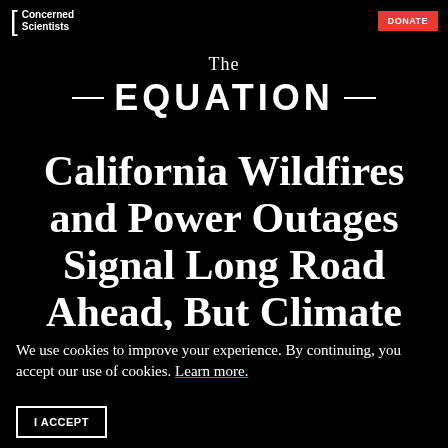Concerned Scientists
The EQUATION
California Wildfires and Power Outages Signal Long Road Ahead, But Climate
We use cookies to improve your experience. By continuing, you accept our use of cookies. Learn more.
I ACCEPT